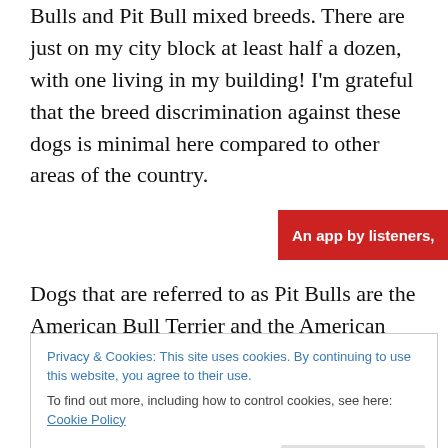Bulls and Pit Bull mixed breeds. There are just on my city block at least half a dozen, with one living in my building! I'm grateful that the breed discrimination against these dogs is minimal here compared to other areas of the country.
[Figure (other): Advertisement banner for Pocket Casts app - red banner with text 'An app by listeners,' and stylized graphic on right side]
Dogs that are referred to as Pit Bulls are the American Bull Terrier and the American Staffordshire Terrier, but most are
Privacy & Cookies: This site uses cookies. By continuing to use this website, you agree to their use.
To find out more, including how to control cookies, see here: Cookie Policy
According to the ASPCA